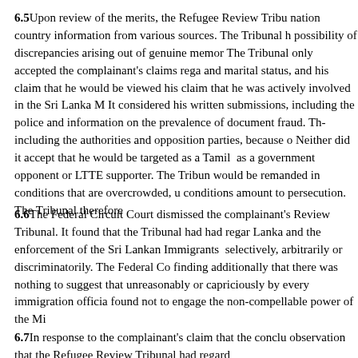6.5Upon review of the merits, the Refugee Review Tribunal considered country information from various sources. The Tribunal had regard to the possibility of discrepancies arising out of genuine memory lapses. The Tribunal only accepted the complainant's claims regarding his ethnicity and marital status, and his claim that he would be viewed with suspicion. His claim that he was actively involved in the Sri Lanka Movement was rejected. It considered his written submissions, including the police records, and information on the prevalence of document fraud. The Tribunal did not accept, including the authorities and opposition parties, because of a lack of evidence. Neither did it accept that he would be targeted as a Tamil as a result of being perceived as a government opponent or LTTE supporter. The Tribunal found that the complainant would be remanded in conditions that are overcrowded, unhygienic but that these conditions amount to persecution. The Tribunal therefore dismissed the case.
6.6The Federal Circuit Court dismissed the complainant's application to review the Refugee Review Tribunal. It found that the Tribunal had had regard to the situation in Sri Lanka and the enforcement of the Sri Lankan Immigrants Act had not been applied selectively, arbitrarily or discriminatorily. The Federal Court upheld the Tribunal's finding additionally that there was nothing to suggest that the Act would be applied unreasonably or capriciously by every immigration official. The Tribunal's decision was found not to engage the non-compellable power of the Minister.
6.7In response to the complainant's claim that the conclusion was flawed, the observation that the Refugee Review Tribunal had regard to the situation in Sri Lanka